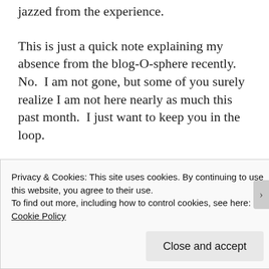jazzed from the experience.
This is just a quick note explaining my absence from the blog-O-sphere recently.  No.  I am not gone, but some of you surely realize I am not here nearly as much this past month.  I just want to keep you in the loop.
I certainly invite my readers to pray for this ministry.  This project we are working on is the biggest, most complex project I have ever
Privacy & Cookies: This site uses cookies. By continuing to use this website, you agree to their use.
To find out more, including how to control cookies, see here: Cookie Policy
Close and accept